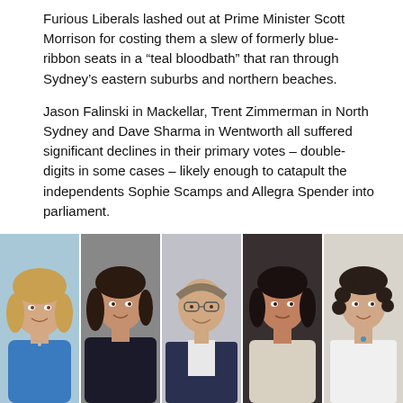Furious Liberals lashed out at Prime Minister Scott Morrison for costing them a slew of formerly blue-ribbon seats in a “teal bloodbath” that ran through Sydney’s eastern suburbs and northern beaches.
Jason Falinski in Mackellar, Trent Zimmerman in North Sydney and Dave Sharma in Wentworth all suffered significant declines in their primary votes – double-digits in some cases – likely enough to catapult the independents Sophie Scamps and Allegra Spender into parliament.
[Figure (photo): A strip of five portrait photos showing (left to right): a blonde woman in a blue top, a dark-haired woman in a dark jacket, a man with glasses in a suit, a dark-haired woman in a light sweater, and a woman with curly hair in a white shirt.]